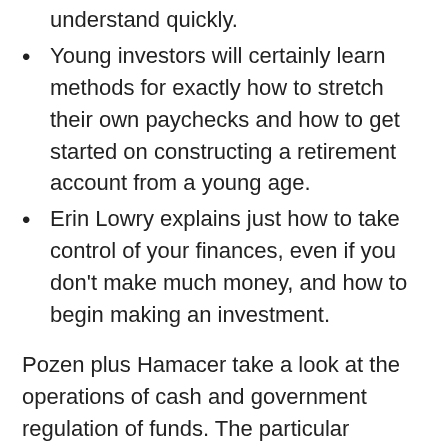understand quickly.
Young investors will certainly learn methods for exactly how to stretch their own paychecks and how to get started on constructing a retirement account from a young age.
Erin Lowry explains just how to take control of your finances, even if you don't make much money, and how to begin making an investment.
Pozen plus Hamacer take a look at the operations of cash and government regulation of funds. The particular Necessity of Financing is surely an investment guide because it offers a great introduction to wealth management for everyone else. Available on AmazonCombining Technical &